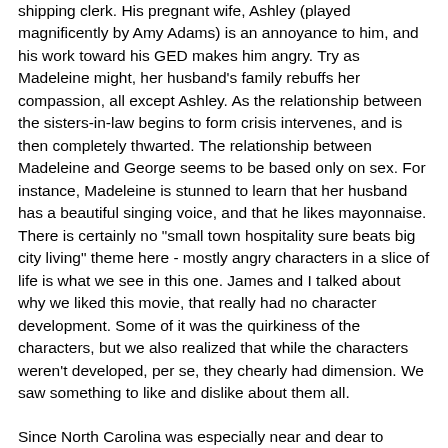shipping clerk. His pregnant wife, Ashley (played magnificently by Amy Adams) is an annoyance to him, and his work toward his GED makes him angry. Try as Madeleine might, her husband's family rebuffs her compassion, all except Ashley. As the relationship between the sisters-in-law begins to form crisis intervenes, and is then completely thwarted. The relationship between Madeleine and George seems to be based only on sex. For instance, Madeleine is stunned to learn that her husband has a beautiful singing voice, and that he likes mayonnaise. There is certainly no "small town hospitality sure beats big city living" theme here - mostly angry characters in a slice of life is what we see in this one. James and I talked about why we liked this movie, that really had no character development. Some of it was the quirkiness of the characters, but we also realized that while the characters weren't developed, per se, they chearly had dimension. We saw something to like and dislike about them all.
Since North Carolina was especially near and dear to James' heart he decided to make a down-home southern breakfast in the tradition of his Aunt Ruby. He said we would need